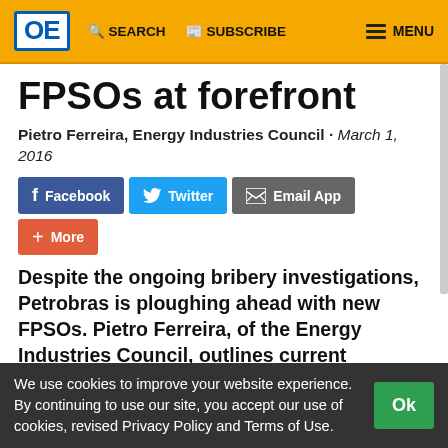OE | SEARCH | SUBSCRIBE | MENU
FPSOs at forefront
Pietro Ferreira, Energy Industries Council · March 1, 2016
[Figure (infographic): Social sharing buttons: Facebook, Twitter, Email App, More]
Despite the ongoing bribery investigations, Petrobras is ploughing ahead with new FPSOs. Pietro Ferreira, of the Energy Industries Council, outlines current contracting activity in Brazil and in Mexico
We use cookies to improve your website experience. By continuing to use our site, you accept our use of cookies, revised Privacy Policy and Terms of Use.